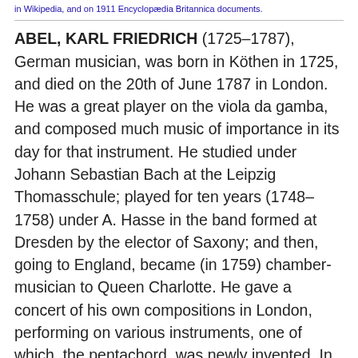in Wikipedia, and on 1911 Encyclopædia Britannica documents.
ABEL, KARL FRIEDRICH (1725–1787), German musician, was born in Köthen in 1725, and died on the 20th of June 1787 in London. He was a great player on the viola da gamba, and composed much music of importance in its day for that instrument. He studied under Johann Sebastian Bach at the Leipzig Thomasschule; played for ten years (1748–1758) under A. Hasse in the band formed at Dresden by the elector of Saxony; and then, going to England, became (in 1759) chamber-musician to Queen Charlotte. He gave a concert of his own compositions in London, performing on various instruments, one of which, the pentachord, was newly invented. In 1762 Johann Christian Bach, the eleventh son of Sebastian, came to London, and the friendship between him and Abel led, in 1764 or 1765, to the establishment of the famous concerts subsequently known as the Bach and